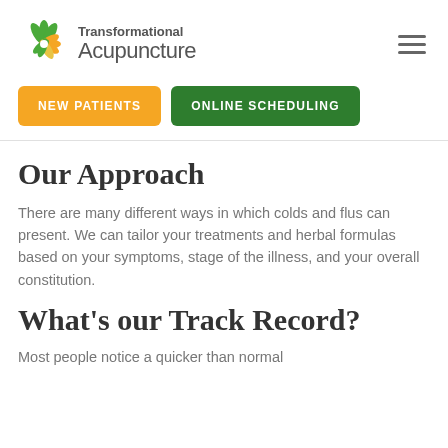[Figure (logo): Transformational Acupuncture logo with flower graphic and text]
NEW PATIENTS
ONLINE SCHEDULING
Our Approach
There are many different ways in which colds and flus can present. We can tailor your treatments and herbal formulas based on your symptoms, stage of the illness, and your overall constitution.
What's our Track Record?
Most people notice a quicker than normal